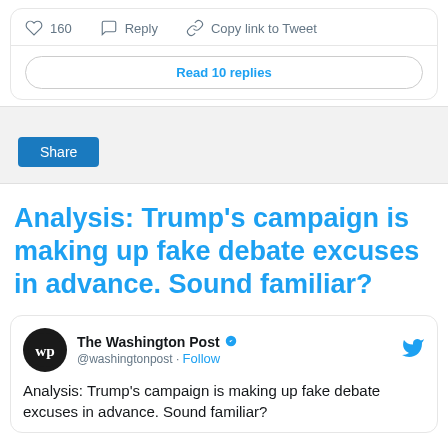[Figure (screenshot): Tweet action bar showing heart icon with 160 likes, Reply button, and Copy link to Tweet button]
Read 10 replies
[Figure (screenshot): Share button block with gray background]
Analysis: Trump’s campaign is making up fake debate excuses in advance. Sound familiar?
[Figure (screenshot): Embedded tweet from The Washington Post (@washingtonpost) with verified badge and Follow link. Tweet text begins: Analysis: Trump’s campaign is making up fake debate excuses in advance. Sound familiar?]